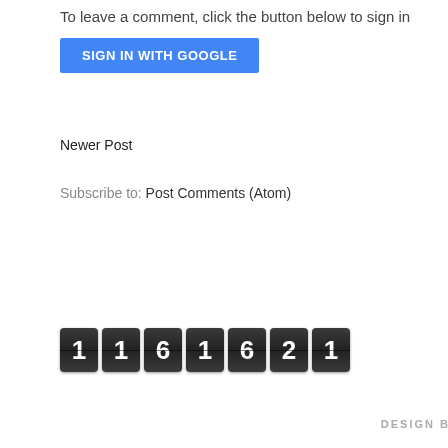To leave a comment, click the button below to sign in
[Figure (screenshot): Blue 'SIGN IN WITH GOOGLE' button]
Newer Post
Subscribe to: Post Comments (Atom)
[Figure (other): Visitor counter showing digits: 1 1 6 1 6 2 1]
DESIGN B